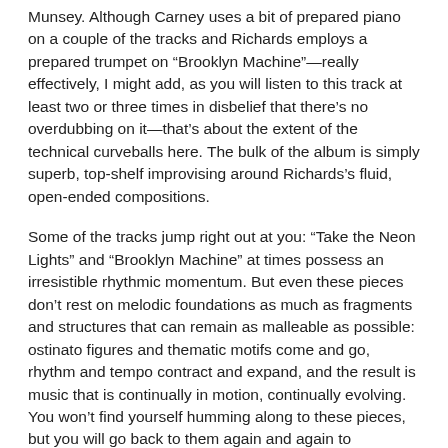Munsey. Although Carney uses a bit of prepared piano on a couple of the tracks and Richards employs a prepared trumpet on “Brooklyn Machine”—really effectively, I might add, as you will listen to this track at least two or three times in disbelief that there’s no overdubbing on it—that’s about the extent of the technical curveballs here. The bulk of the album is simply superb, top-shelf improvising around Richards’s fluid, open-ended compositions.
Some of the tracks jump right out at you: “Take the Neon Lights” and “Brooklyn Machine” at times possess an irresistible rhythmic momentum. But even these pieces don’t rest on melodic foundations as much as fragments and structures that can remain as malleable as possible: ostinato figures and thematic motifs come and go, rhythm and tempo contract and expand, and the result is music that is continually in motion, continually evolving. You won’t find yourself humming along to these pieces, but you will go back to them again and again to appreciate new dimensions of their engaging complexity.
Other tracks are just as riveting, albeit using a less direct